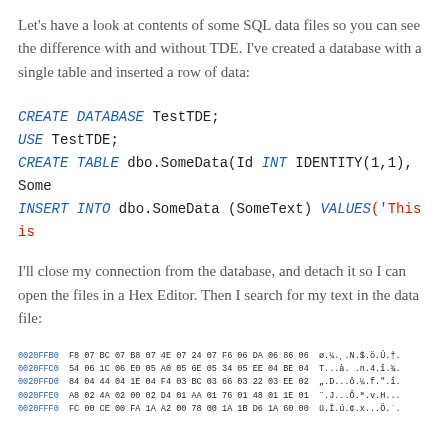Let's have a look at contents of some SQL data files so you can see the difference with and without TDE. I've created a database with a single table and inserted a row of data:
CREATE DATABASE TestTDE;
USE TestTDE;
CREATE TABLE dbo.SomeData(Id INT IDENTITY(1,1), Some
INSERT INTO dbo.SomeData (SomeText) VALUES('This is
I'll close my connection from the database, and detach it so I can open the files in a Hex Editor. Then I search for my text in the data file:
[Figure (screenshot): Hex editor view showing rows of hex addresses (0020FFB0 to 0020FFF0) with corresponding hex byte values and ASCII character representations.]